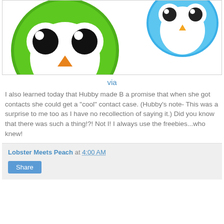[Figure (illustration): Two cartoon owl contact lens cases — a green one in the foreground and a blue one in the background upper right — with large googly eyes and orange beaks.]
via
I also learned today that Hubby made B a promise that when she got contacts she could get a "cool" contact case. (Hubby's note- This was a surprise to me too as I have no recollection of saying it.) Did you know that there was such a thing!?! Not I! I always use the freebies...who knew!
Lobster Meets Peach at 4:00 AM Share